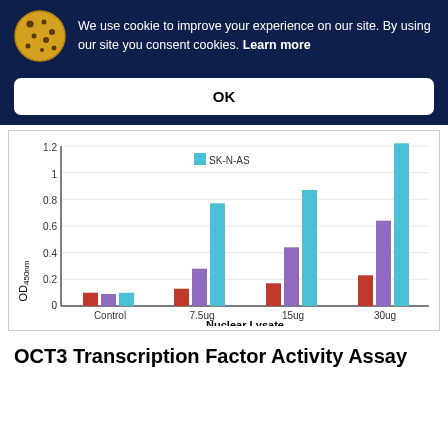We use cookie to improve your experience on our site. By using our site you consent cookies. Learn more
OK
[Figure (grouped-bar-chart): ]
OCT3 Transcription Factor Activity Assay